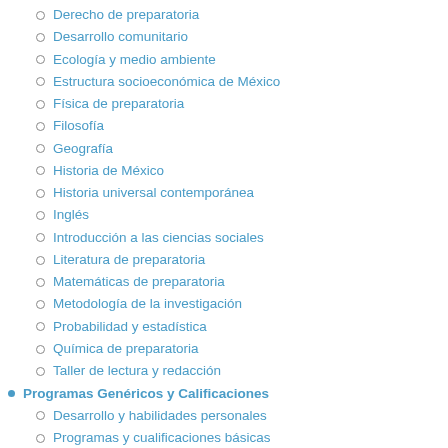Derecho de preparatoria
Desarrollo comunitario
Ecología y medio ambiente
Estructura socioeconómica de México
Física de preparatoria
Filosofía
Geografía
Historia de México
Historia universal contemporánea
Inglés
Introducción a las ciencias sociales
Literatura de preparatoria
Matemáticas de preparatoria
Metodología de la investigación
Probabilidad y estadística
Química de preparatoria
Taller de lectura y redacción
Programas Genéricos y Calificaciones
Desarrollo y habilidades personales
Programas y cualificaciones básicas
Salud y Bienestar
Bienestar
Cuidado del adulto mayor y adultos con discapacidad
Salud
Enfermería y obstetricia
Estudios dentales
Medicina